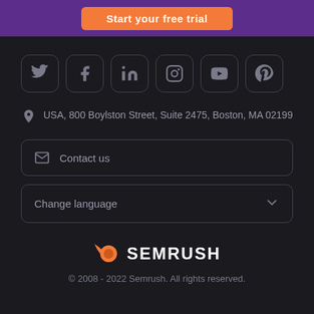Start your free trial
[Figure (other): Social media icon buttons: Twitter, Facebook, LinkedIn, Instagram, YouTube, Pinterest]
USA, 800 Boylston Street, Suite 2475, Boston, MA 02199
Contact us
Change language
[Figure (logo): Semrush logo with orange meteor icon and bold white SEMRUSH wordmark]
© 2008 - 2022 Semrush. All rights reserved.